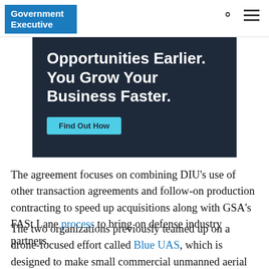Government Executive
[Figure (other): Advertisement banner with dark navy background showing text 'Opportunities Earlier. You Grow Your Business Faster.' with a cyan 'Find Out How' button]
The agreement focuses on combining DIU's use of other transaction agreements and follow-on production contracting to speed up acquisitions along with GSA's FASt Lane process to bring on defense industry partners.
The two organizations previously teamed up on a drone-focused effort called Blue UAS, which is designed to make small commercial unmanned aerial systems that are compliant with restrictions named in the 2020 National